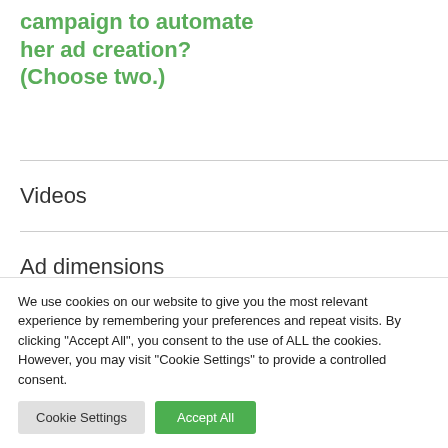campaign to automate her ad creation? (Choose two.)
Videos
Ad dimensions
Headlines
We use cookies on our website to give you the most relevant experience by remembering your preferences and repeat visits. By clicking "Accept All", you consent to the use of ALL the cookies. However, you may visit "Cookie Settings" to provide a controlled consent.